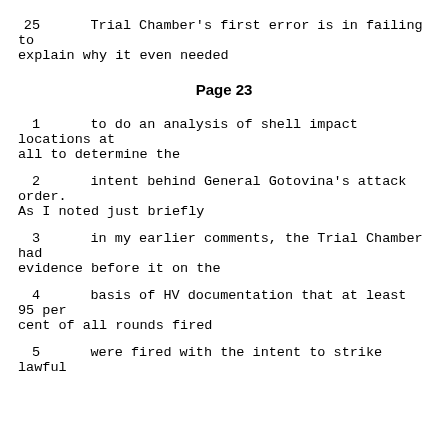25     Trial Chamber's first error is in failing to explain why it even needed
Page 23
1      to do an analysis of shell impact locations at all to determine the
2      intent behind General Gotovina's attack order. As I noted just briefly
3      in my earlier comments, the Trial Chamber had evidence before it on the
4      basis of HV documentation that at least 95 per cent of all rounds fired
5      were fired with the intent to strike lawful